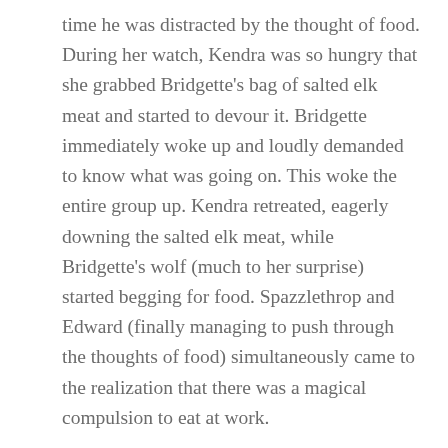time he was distracted by the thought of food. During her watch, Kendra was so hungry that she grabbed Bridgette’s bag of salted elk meat and started to devour it. Bridgette immediately woke up and loudly demanded to know what was going on. This woke the entire group up. Kendra retreated, eagerly downing the salted elk meat, while Bridgette’s wolf (much to her surprise) started begging for food. Spazzlethrop and Edward (finally managing to push through the thoughts of food) simultaneously came to the realization that there was a magical compulsion to eat at work.
Realizing that the giants had likely put the enchantment on them, the group considered confronting them…but then decided to get a better